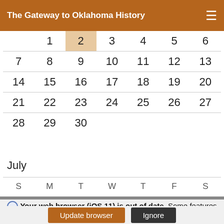The Gateway to Oklahoma History
| S | M | T | W | T | F | S |
| --- | --- | --- | --- | --- | --- | --- |
|  | 1 | 2 | 3 | 4 | 5 | 6 |
| 7 | 8 | 9 | 10 | 11 | 12 | 13 |
| 14 | 15 | 16 | 17 | 18 | 19 | 20 |
| 21 | 22 | 23 | 24 | 25 | 26 | 27 |
| 28 | 29 | 30 |  |  |  |  |
July
| S | M | T | W | T | F | S |
| --- | --- | --- | --- | --- | --- | --- |
Your web browser (iOS 11) is out of date. Some features on this site may not work.